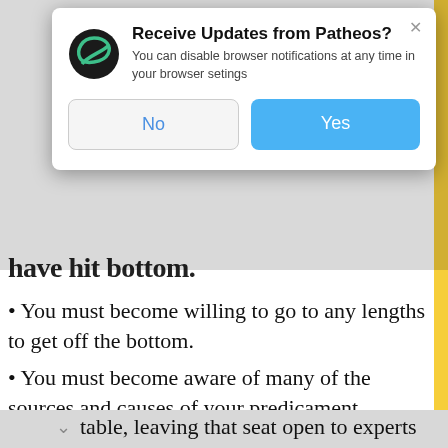[Figure (screenshot): Browser notification popup dialog from Patheos website overlaying article content. Dialog shows Patheos logo, title 'Receive Updates from Patheos?', subtitle text, and No/Yes buttons.]
have hit bottom.
• You must become willing to go to any lengths to get off the bottom.
• You must become aware of many of the sources and causes of your predicament.
• Your must confess and atone for mistakes and misdeeds.
• You must remove yourself from the head of the table, leaving that seat open to experts